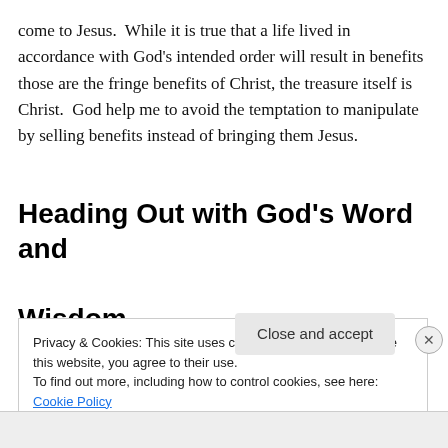come to Jesus.  While it is true that a life lived in accordance with God's intended order will result in benefits those are the fringe benefits of Christ, the treasure itself is Christ.  God help me to avoid the temptation to manipulate by selling benefits instead of bringing them Jesus.
Heading Out with God's Word and Wisdom
Privacy & Cookies: This site uses cookies. By continuing to use this website, you agree to their use.
To find out more, including how to control cookies, see here: Cookie Policy